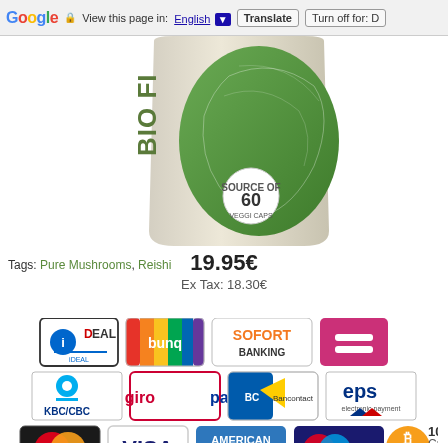Google  View this page in: English [dropdown] Translate | Turn off for: D
[Figure (photo): BIO FIT supplement product bottle with green label showing '60' and mushroom imagery, partially cropped]
19.95€
Ex Tax: 18.30€
Tags: Pure Mushrooms, Reishi
[Figure (infographic): Payment method logos: iDEAL, Banq, SOFORT BANKING, (pink icon), KBC/CBC, giropay, Bancontact, eps, MasterCard, VISA, AMERICAN EXPRESS, Maestro, 10+ Crypto (Bitcoin)]